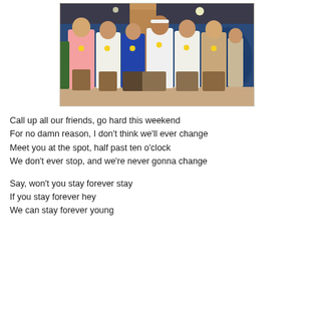[Figure (photo): Group photo of six women standing together in a room with blue walls and a wooden pillar. They are wearing traditional Southeast Asian attire including batik skirts and white jackets, with yellow badges/pins on their outfits.]
Call up all our friends, go hard this weekend
For no damn reason, I don't think we'll ever change
Meet you at the spot, half past ten o'clock
We don't ever stop, and we're never gonna change

Say, won't you stay forever stay
If you stay forever hey
We can stay forever young